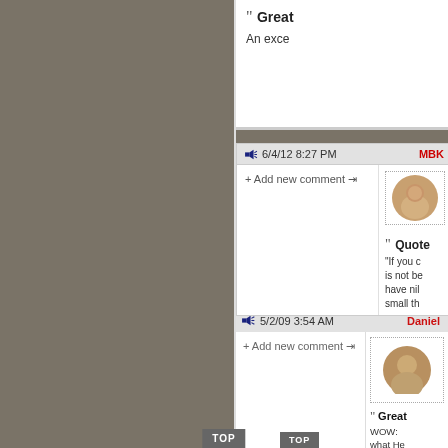" Great
An exce
6/4/12 8:27 PM  MBK
+ Add new comment
" Quote
"If you c... is not be... have nil... small th...
5/2/09 3:54 AM  Daniel
+ Add new comment
" Great
WOW: what He